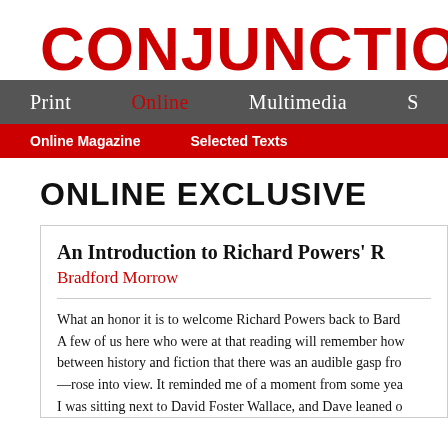CONJUNCTIONS Rea
Print  Online  Multimedia  S
Online Magazine  Selected Texts
ONLINE EXCLUSIVE
An Introduction to Richard Powers' R
Bradford Morrow
What an honor it is to welcome Richard Powers back to Bard A few of us here who were at that reading will remember how between history and fiction that there was an audible gasp fro —rose into view. It reminded me of a moment from some yea I was sitting next to David Foster Wallace, and Dave leaned o